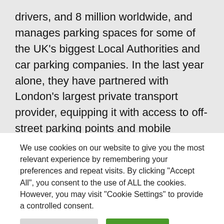drivers, and 8 million worldwide, and manages parking spaces for some of the UK's biggest Local Authorities and car parking companies. In the last year alone, they have partnered with London's largest private transport provider, equipping it with access to off-street parking points and mobile payments technologies. In other words, it's growing and growing fast.

But growth means increased demand. To meet this
We use cookies on our website to give you the most relevant experience by remembering your preferences and repeat visits. By clicking "Accept All", you consent to the use of ALL the cookies. However, you may visit "Cookie Settings" to provide a controlled consent.